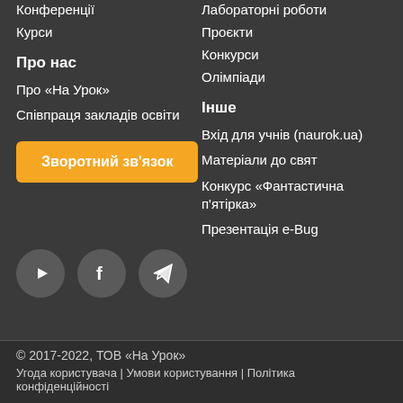Конференції
Курси
Лабораторні роботи
Проєкти
Конкурси
Олімпіади
Про нас
Про «На Урок»
Співпраця закладів освіти
Інше
Вхід для учнів (naurok.ua)
Матеріали до свят
Конкурс «Фантастична п'ятірка»
Презентація e-Bug
Зворотний зв'язок
[Figure (illustration): Social media icons: YouTube, Facebook, Telegram]
© 2017-2022, ТОВ «На Урок»
Угода користувача | Умови користування | Політика конфіденційності